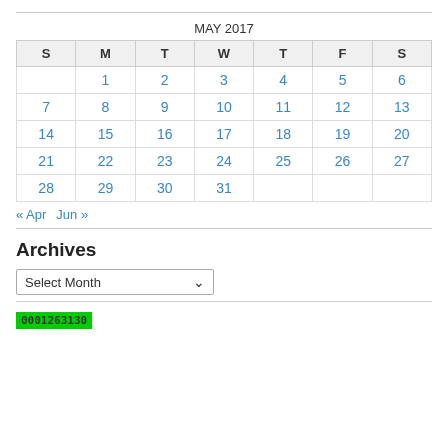| S | M | T | W | T | F | S |
| --- | --- | --- | --- | --- | --- | --- |
|  | 1 | 2 | 3 | 4 | 5 | 6 |
| 7 | 8 | 9 | 10 | 11 | 12 | 13 |
| 14 | 15 | 16 | 17 | 18 | 19 | 20 |
| 21 | 22 | 23 | 24 | 25 | 26 | 27 |
| 28 | 29 | 30 | 31 |  |  |  |
« Apr   Jun »
Archives
Select Month
0001263130